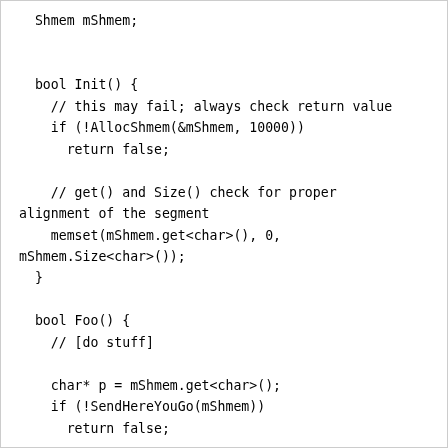Shmem mShmem;

  bool Init() {
    // this may fail; always check return value
    if (!AllocShmem(&mShmem, 10000))
      return false;

    // get() and Size() check for proper alignment of the segment
    memset(mShmem.get<char>(), 0, mShmem.Size<char>());
  }

  bool Foo() {
    // [do stuff]

    char* p = mShmem.get<char>();
    if (!SendHereYouGo(mShmem))
      return false;

    // mShmem is now unusable; both of the